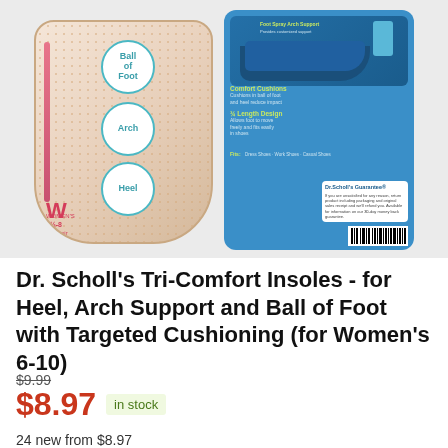[Figure (photo): Product photo of Dr. Scholl's Tri-Comfort Insoles packaging showing front and back of box — front shows insole with labeled circles for Ball of Foot, Arch, and Heel; back shows blue packaging with shoe diagram and feature callouts including Foot Spray Arch Support, Comfort Cushions, 3/4 Length Design, and a Dr. Scholl's Guarantee box with barcode.]
Dr. Scholl's Tri-Comfort Insoles - for Heel, Arch Support and Ball of Foot with Targeted Cushioning (for Women's 6-10)
$9.99
$8.97 in stock
24 new from $8.97